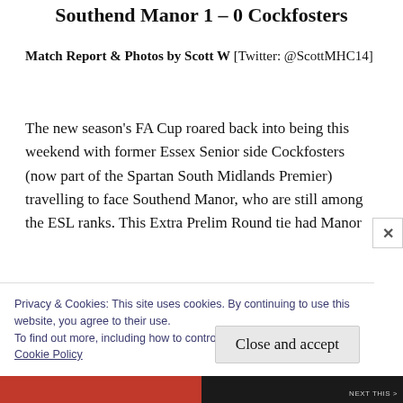Southend Manor 1 – 0 Cockfosters
Match Report & Photos by Scott W [Twitter: @ScottMHC14]
The new season's FA Cup roared back into being this weekend with former Essex Senior side Cockfosters (now part of the Spartan South Midlands Premier) travelling to face Southend Manor, who are still among the ESL ranks. This Extra Prelim Round tie had Manor
Privacy & Cookies: This site uses cookies. By continuing to use this website, you agree to their use.
To find out more, including how to control cookies, see here:
Cookie Policy
Close and accept